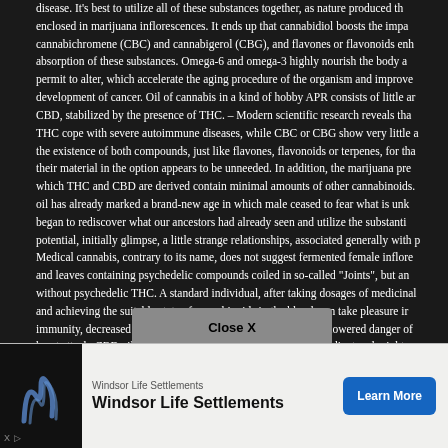disease. It's best to utilize all of these substances together, as nature produced them, enclosed in marijuana inflorescences. It ends up that cannabidiol boosts the impact of cannabichromene (CBC) and cannabigerol (CBG), and flavones or flavonoids enhance absorption of these substances. Omega-6 and omega-3 highly nourish the body and permit to alter, which accelerate the aging procedure of the organism and improve the development of cancer. Oil of cannabis in a kind of hobby APR consists of little amounts of CBD, stabilized by the presence of THC. – Modern scientific research reveals that CBD and THC cope with severe autoimmune diseases, while CBC or CBG show very little activity in the existence of both compounds, just like flavones, flavonoids or terpenes, for that reason their material in the option appears to be unneeded. In addition, the marijuana preparation from which THC and CBD are derived contain minimal amounts of other cannabinoids. Cannabis oil has already marked a brand-new age in which male ceased to fear what is unknown, and began to rediscover what our ancestors had already seen and utilize the substantial potential, initially glimpse, a little strange relationships, associated generally with psychosis. Medical cannabis, contrary to its name, does not suggest fermented female inflorescences and leaves containing psychedelic compounds coiled in so-called "Joints", but an advantageous without psychedelic THC. A standard individual, after taking dosages of medicinal cannabis and achieving the suitable state of cannabinoids in the blood, can take pleasure in increased immunity, decreased vulnerability to cancer, delayed aging and lowered danger of stroke or heart attack. CBD oil includes cannabidiol as a base active ingredient and might contain only trace amounts of tetrahydroxycannabidiol (THC). RSO oil has a low CBD material, just like THC. Both marijuana oil type CBD and RSO also contain other cannabinoids, such as cannabichromene (CBC) and cannabigerol (CBG). CBD medical marijuana oil is a rather advantageous blend of cannabinoids, developed to protect against 21st century illness. Oil of cannabis in a kind of hobby APR consists of small amounts of CBD, stabilized by the existence of THC.
[Figure (screenshot): Close X button overlay on the article text, grey rectangle with 'Close X' text in black]
[Figure (screenshot): Advertisement banner for Windsor Life Settlements with wave logo, company name, and blue 'Learn More' button]